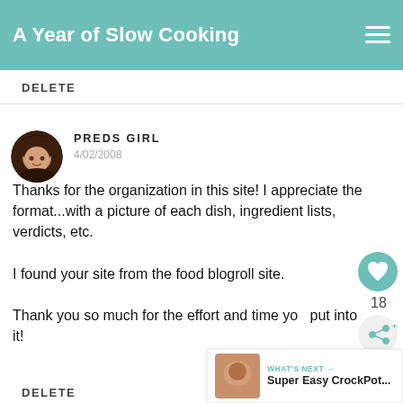A Year of Slow Cooking
DELETE
PREDS GIRL
4/02/2008

Thanks for the organization in this site! I appreciate the format...with a picture of each dish, ingredient lists, verdicts, etc.

I found your site from the food blogroll site.

Thank you so much for the effort and time you put into it!
18
WHAT'S NEXT → Super Easy CrockPot...
DELETE